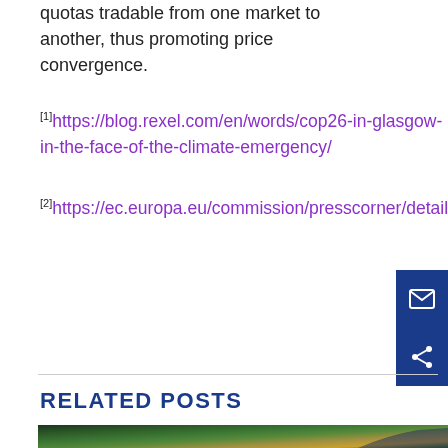quotas tradable from one market to another, thus promoting price convergence.
[1] https://blog.rexel.com/en/words/cop26-in-glasgow-in-the-face-of-the-climate-emergency/
[2] https://ec.europa.eu/commission/presscorner/detail...
RELATED POSTS
[Figure (photo): Aerial view of a dense green forest with autumn foliage and a road curving through, with a circular loading/cursor icon overlay]